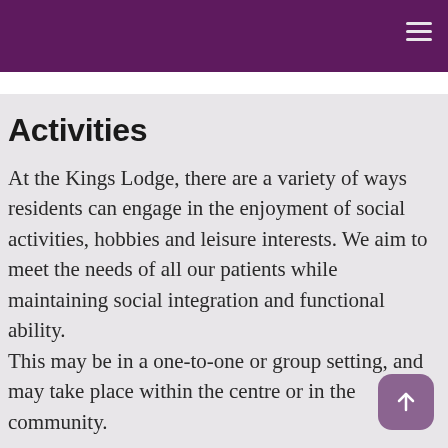Activities
At the Kings Lodge, there are a variety of ways residents can engage in the enjoyment of social activities, hobbies and leisure interests. We aim to meet the needs of all our patients while maintaining social integration and functional ability. This may be in a one-to-one or group setting, and may take place within the centre or in the community.